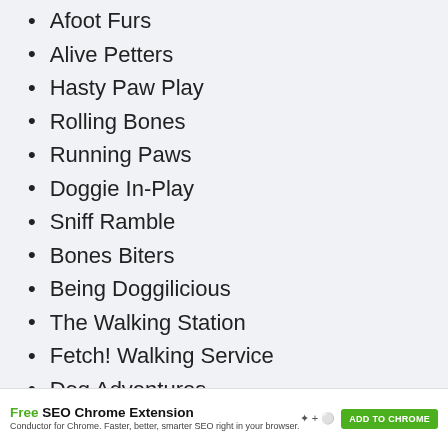Afoot Furs
Alive Petters
Hasty Paw Play
Rolling Bones
Running Paws
Doggie In-Play
Sniff Ramble
Bones Biters
Being Doggilicious
The Walking Station
Fetch! Walking Service
Dog Adventures
Free SEO Chrome Extension — Conductor for Chrome. Faster, better, smarter SEO right in your browser. ADD TO CHROME